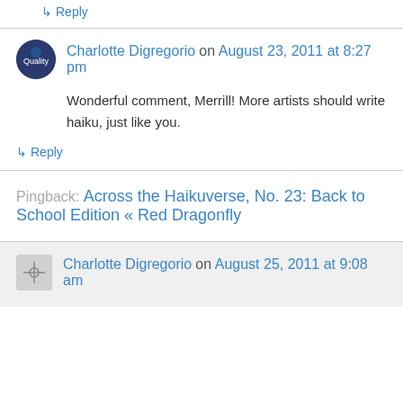↳ Reply
Charlotte Digregorio on August 23, 2011 at 8:27 pm
Wonderful comment, Merrill! More artists should write haiku, just like you.
↳ Reply
Pingback: Across the Haikuverse, No. 23: Back to School Edition « Red Dragonfly
Charlotte Digregorio on August 25, 2011 at 9:08 am